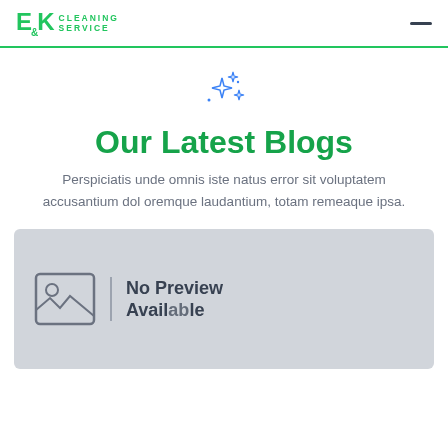EK Cleaning Service
[Figure (illustration): Sparkle/stars decorative icon in blue outline style]
Our Latest Blogs
Perspiciatis unde omnis iste natus error sit voluptatem accusantium dol oremque laudantium, totam remeaque ipsa.
[Figure (photo): Blog card placeholder with grey background showing a 'No Preview Available' image placeholder icon and text]